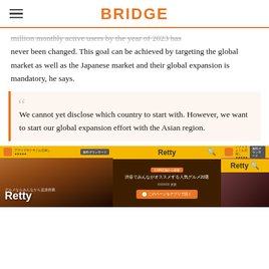BRIDGE
million monthly active users by the year of 2023 has never been changed. This goal can be achieved by targeting the global market as well as the Japanese market and their global expansion is mandatory, he says.
We cannot yet disclose which country to start with. However, we want to start our global expansion effort with the Asian region.
[Figure (screenshot): Screenshot of the Retty restaurant recommendation app showing food photos and Japanese text interface]